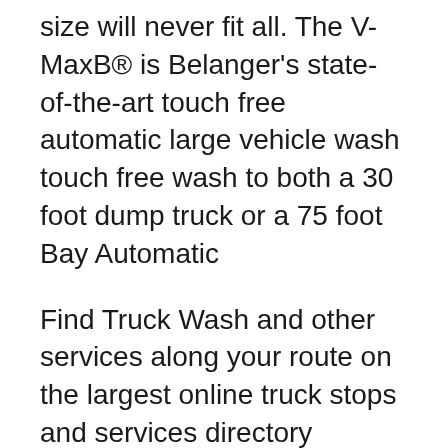size will never fit all. The V-MaxB® is Belanger's state-of-the-art touch free automatic large vehicle wash touch free wash to both a 30 foot dump truck or a 75 foot Bay Automatic
Find Truck Wash and other services along your route on the largest online truck stops and services directory GENERAL PLANNING GUIDELINES MULTI-BAY CAR WASH coin box on car wash bay These dimensions do not include any consideration for set-back
SaberB® SL2 Build-A-Wash Touchless In-Bay Automatic. KondorB® SaberB® Soft Touch In-Bay Automatic.
ForeStyle B® Photo Gallery Touch & P...